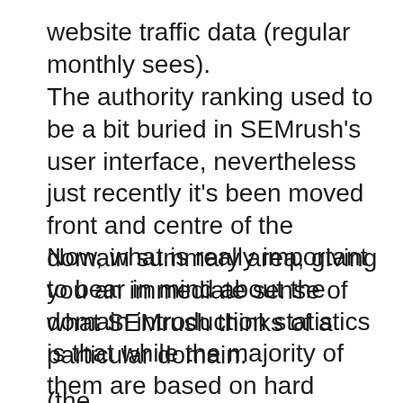website traffic data (regular monthly sees).
The authority ranking used to be a bit buried in SEMrush's user interface, nevertheless just recently it's been moved front and centre of the domain summary area, giving you an immediate sense of what SEMrush thinks of a particular domain.
Now, what is really important to bear in mind about the domain introduction statistics is that while the majority of them are based on hard information, the traffic figures are price quotes– and my experience of them is that they are not incredibly exact.
(the... this description concerns in the